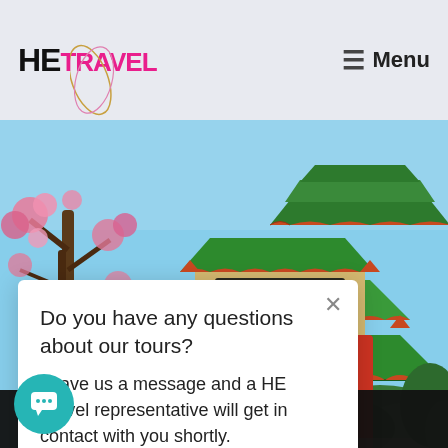HE TRAVEL — Menu
[Figure (photo): Chinese traditional pagoda/gate structure with ornate green tiled roofs, red columns, golden decorative elements and Chinese characters. Cherry blossom tree branches visible on the left side. Taken outdoors in a park or garden setting.]
HE
Do you have any questions about our tours?
Leave us a message and a HE Travel representative will get in contact with you shortly.
kies to ensure you get
n our website.
Learn more
Got it!